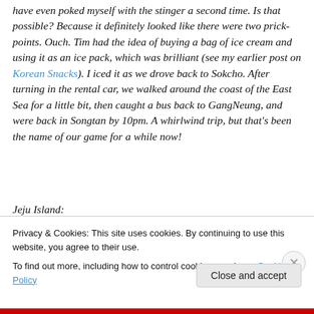have even poked myself with the stinger a second time.  Is that possible?  Because it definitely looked like there were two prick-points.  Ouch.  Tim had the idea of buying a bag of ice cream and using it as an ice pack, which was brilliant (see my earlier post on Korean Snacks).  I iced it as we drove back to Sokcho.  After turning in the rental car, we walked around the coast of the East Sea for a little bit, then caught a bus back to GangNeung, and were back in Songtan by 10pm.  A whirlwind trip, but that's been the name of our game for a while now!
Jeju Island:
Privacy & Cookies: This site uses cookies. By continuing to use this website, you agree to their use.
To find out more, including how to control cookies, see here: Cookie Policy